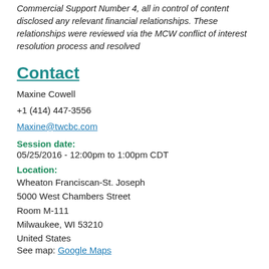Commercial Support Number 4, all in control of content disclosed any relevant financial relationships. These relationships were reviewed via the MCW conflict of interest resolution process and resolved
Contact
Maxine Cowell
+1 (414) 447-3556
Maxine@twcbc.com
Session date:
05/25/2016 - 12:00pm to 1:00pm CDT
Location:
Wheaton Franciscan-St. Joseph
5000 West Chambers Street
Room M-111
Milwaukee, WI 53210
United States
See map: Google Maps